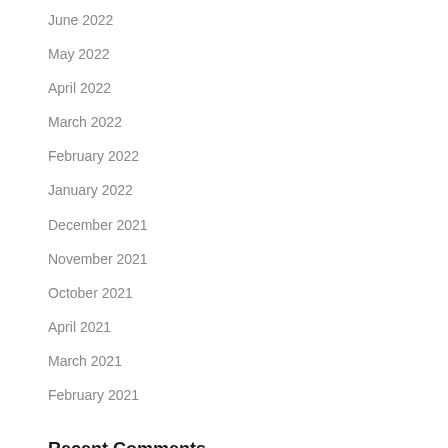June 2022
May 2022
April 2022
March 2022
February 2022
January 2022
December 2021
November 2021
October 2021
April 2021
March 2021
February 2021
Recent Comments